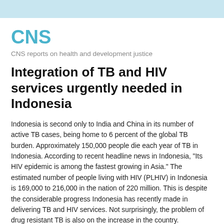CNS
CNS reports on health and development justice
Integration of TB and HIV services urgently needed in Indonesia
Indonesia is second only to India and China in its number of active TB cases, being home to 6 percent of the global TB burden. Approximately 150,000 people die each year of TB in Indonesia. According to recent headline news in Indonesia, "Its HIV epidemic is among the fastest growing in Asia." The estimated number of people living with HIV (PLHIV) in Indonesia is 169,000 to 216,000 in the nation of 220 million. This is despite the considerable progress Indonesia has recently made in delivering TB and HIV services. Not surprisingly, the problem of drug resistant TB is also on the increase in the country.